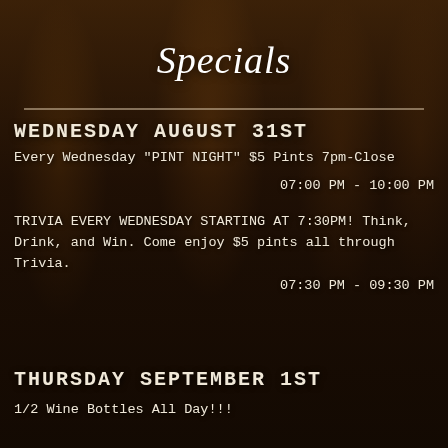[Figure (photo): Background photo of multiple Guinness pint glasses filled with dark stout beer on a bar counter, dark moody atmosphere]
Specials
WEDNESDAY AUGUST 31ST
Every Wednesday "PINT NIGHT" $5 Pints 7pm-Close
07:00 PM - 10:00 PM
TRIVIA EVERY WEDNESDAY STARTING AT 7:30PM! Think, Drink, and Win. Come enjoy $5 pints all through Trivia.
07:30 PM - 09:30 PM
THURSDAY SEPTEMBER 1ST
1/2 Wine Bottles All Day!!!